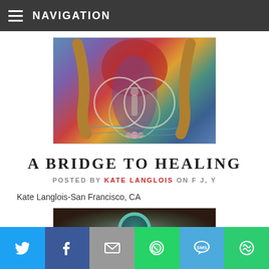NAVIGATION
[Figure (illustration): Colorful spiritual/healing artwork with circular forms, figure of a woman, flowing colors of blue, purple, red, orange]
A BRIDGE TO HEALING
POSTED BY KATE LANGLOIS ON F J, Y
Kate Langlois-San Francisco, CA
[Figure (illustration): Spiritual artwork showing a figure with a glowing circular halo, dark earthy tones]
Social sharing buttons: Twitter, Facebook, Email, WhatsApp, SMS, More